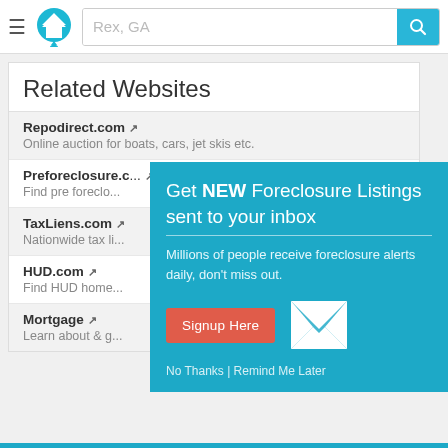Rex, GA
Related Websites
Repodirect.com — Online auction for boats, cars, jet skis etc.
Preforeclosure.c — Find pre foreclo...
TaxLiens.com — Nationwide tax l...
HUD.com — Find HUD home...
Mortgage — Learn about & g...
[Figure (screenshot): Modal popup: Get NEW Foreclosure Listings sent to your inbox. Millions of people receive foreclosure alerts daily, don't miss out. Signup Here button. No Thanks | Remind Me Later links.]
Advertise here?